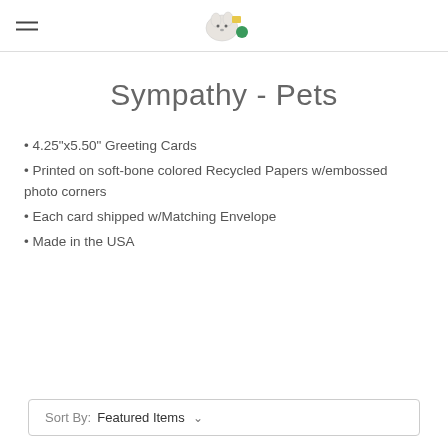Sympathy - Pets store header with logo and hamburger menu
Sympathy - Pets
4.25"x5.50" Greeting Cards
Printed on soft-bone colored Recycled Papers w/embossed photo corners
Each card shipped w/Matching Envelope
Made in the USA
Sort By: Featured Items